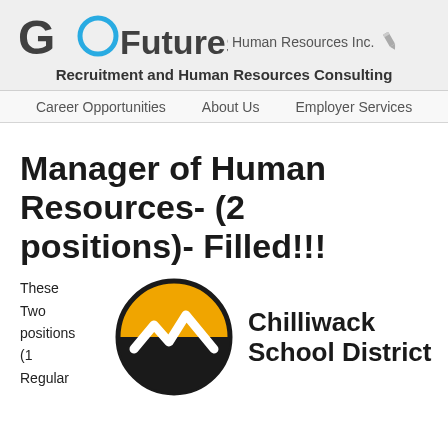[Figure (logo): Go Futures Human Resources Inc. logo with large bold 'GO' text, a blue circular ring forming the 'O', followed by 'Futures' in bold and 'Human Resources Inc.' in smaller text, with a pencil icon]
Recruitment and Human Resources Consulting
Career Opportunities   About Us   Employer Services
Manager of Human Resources- (2 positions)- Filled!!!
These Two positions (1 Regular
[Figure (logo): Chilliwack School District logo: a circular badge with orange top half and black bottom half, featuring a white stylized checkmark/mountain shape, next to bold text reading 'Chilliwack School District']